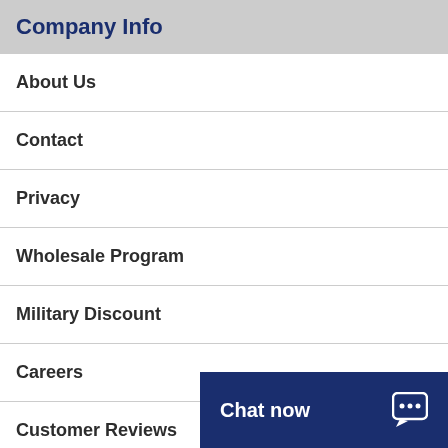Company Info
About Us
Contact
Privacy
Wholesale Program
Military Discount
Careers
Customer Reviews
Auto Accessories Garage
Help Center
Chat now